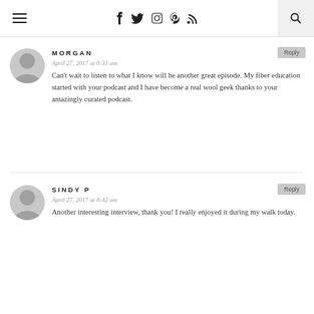Navigation header with hamburger menu, social icons (Facebook, Twitter, Instagram, Pinterest, RSS), and search button
MORGAN
April 27, 2017 at 8:31 am
Can't wait to listen to what I know will be another great episode. My fiber education started with your podcast and I have become a real wool geek thanks to your amazingly curated podcast.
SINDY P
April 27, 2017 at 8:42 am
Another interesting interview, thank you! I really enjoyed it during my walk today.